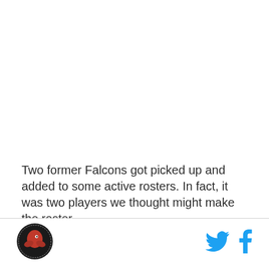Two former Falcons got picked up and added to some active rosters. In fact, it was two players we thought might make the roster.
[Figure (logo): Atlanta Falcons fan site circular logo with red falcon on dark background]
[Figure (logo): Twitter bird icon in cyan/blue]
[Figure (logo): Facebook 'f' icon in cyan/blue]